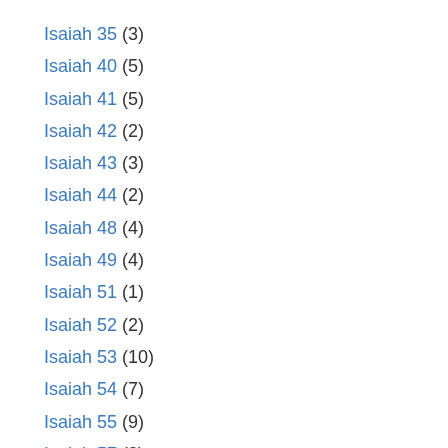Isaiah 35 (3)
Isaiah 40 (5)
Isaiah 41 (5)
Isaiah 42 (2)
Isaiah 43 (3)
Isaiah 44 (2)
Isaiah 48 (4)
Isaiah 49 (4)
Isaiah 51 (1)
Isaiah 52 (2)
Isaiah 53 (10)
Isaiah 54 (7)
Isaiah 55 (9)
Isaiah 57 (2)